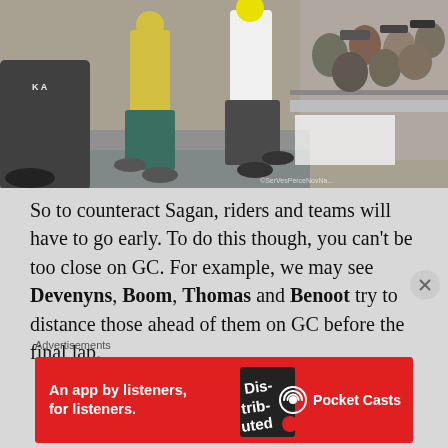[Figure (photo): Cycling race photo showing riders on cobblestones with spectators behind barriers, support motorcycle visible on left]
So to counteract Sagan, riders and teams will have to go early. To do this though, you can't be too close on GC. For example, we may see Devenyns, Boom, Thomas and Benoot try to distance those ahead of them on GC before the final lap.
Advertisements
[Figure (other): Advertisement for Pocket Casts app on red background. Text reads: An app by listeners, for listeners. Pocket Casts logo on right.]